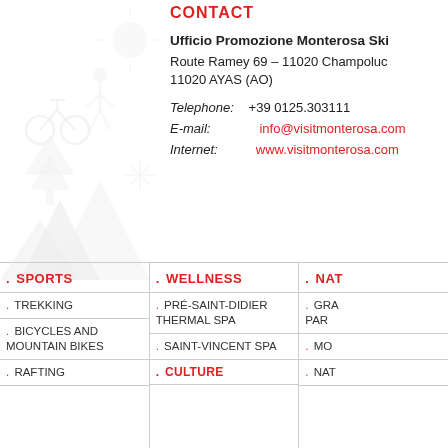CONTACT
Ufficio Promozione Monterosa Ski
Route Ramey 69 - 11020 Champoluc
11020 AYAS (AO)
Telephone: +39 0125.303111
E-mail: info@visitmonterosa.com
Internet: www.visitmonterosa.com
. SPORTS
. TREKKING
. BICYCLES AND MOUNTAIN BIKES
. RAFTING
. WELLNESS
. PRÉ-SAINT-DIDIER THERMAL SPA
. SAINT-VINCENT SPA
. CULTURE
. NAT...
. GRA... PAR...
. MO...
. NAT...